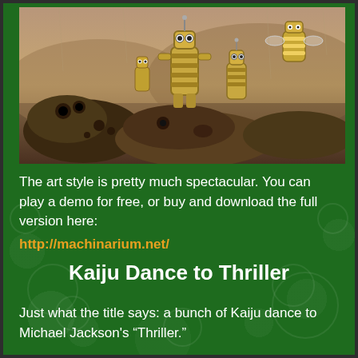[Figure (illustration): Illustrated scene showing robot-like mechanical creatures and monsters in a painterly art style, reminiscent of the game Machinarium. Mechanical robots with barrel-shaped bodies stand among fallen creature-like forms on a landscape.]
The art style is pretty much spectacular. You can play a demo for free, or buy and download the full version here: http://machinarium.net/
Kaiju Dance to Thriller
Just what the title says: a bunch of Kaiju dance to Michael Jackson's “Thriller.”